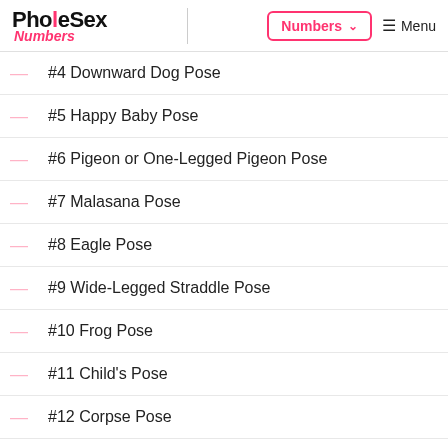PholeSex Numbers | Numbers Menu
#4 Downward Dog Pose
#5 Happy Baby Pose
#6 Pigeon or One-Legged Pigeon Pose
#7 Malasana Pose
#8 Eagle Pose
#9 Wide-Legged Straddle Pose
#10 Frog Pose
#11 Child's Pose
#12 Corpse Pose